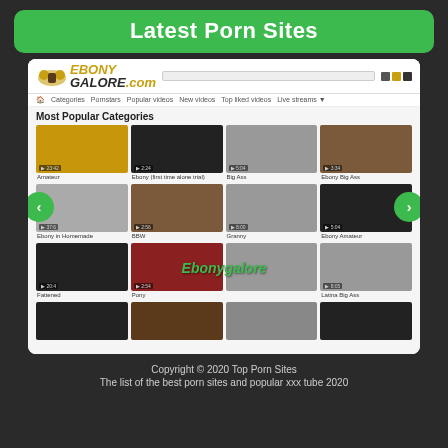Latest Porn Sites
[Figure (screenshot): Screenshot of Ebonygalore.com website showing a grid of video thumbnails under 'Most Popular Categories', with navigation arrows on left and right, site logo at top, nav bar, and 'Ebonygalore' watermark text in green]
Copyright © 2020 Top Porn Sites
The list of the best porn sites and popular xxx tube 2020